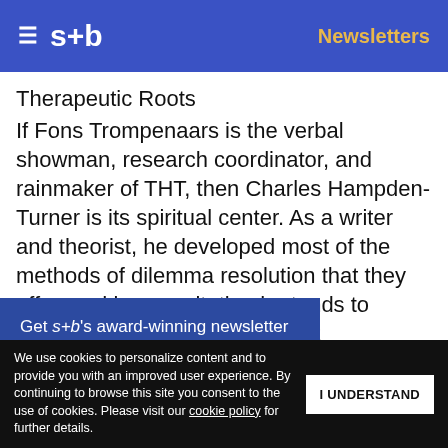s+b   Newsletters
Therapeutic Roots
If Fons Trompenaars is the verbal showman, research coordinator, and rainmaker of THT, then Charles Hampden-Turner is its spiritual center. As a writer and theorist, he developed most of the methods of dilemma resolution that they offer, and in consultation he tends to [pernicious client] [provoke] and she is a tall, raspy-vo[iced man who
Get s+b's award-winning newsletter delivered to your inbox.
We use cookies to personalize content and to provide you with an improved user experience. By continuing to browse this site you consent to the use of cookies. Please visit our cookie policy for further details.